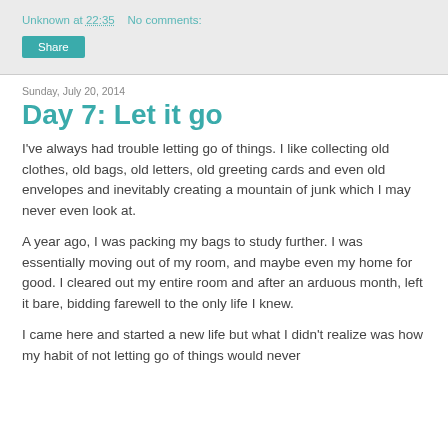Unknown at 22:35    No comments:
Share
Sunday, July 20, 2014
Day 7: Let it go
I've always had trouble letting go of things. I like collecting old clothes, old bags, old letters, old greeting cards and even old envelopes and inevitably creating a mountain of junk which I may never even look at.
A year ago, I was packing my bags to study further. I was essentially moving out of my room, and maybe even my home for good. I cleared out my entire room and after an arduous month, left it bare, bidding farewell to the only life I knew.
I came here and started a new life but what I didn't realize was how my habit of not letting go of things would never